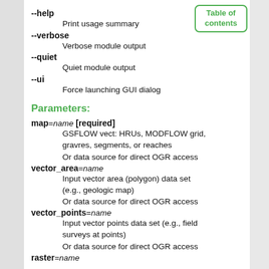--help
        Print usage summary
--verbose
        Verbose module output
--quiet
        Quiet module output
--ui
        Force launching GUI dialog
Parameters:
map=name [required]
        GSFLOW vect: HRUs, MODFLOW grid, gravres, segments, or reaches
        Or data source for direct OGR access
vector_area=name
        Input vector area (polygon) data set (e.g., geologic map)
        Or data source for direct OGR access
vector_points=name
        Input vector points data set (e.g., field surveys at points)
        Or data source for direct OGR access
raster=name